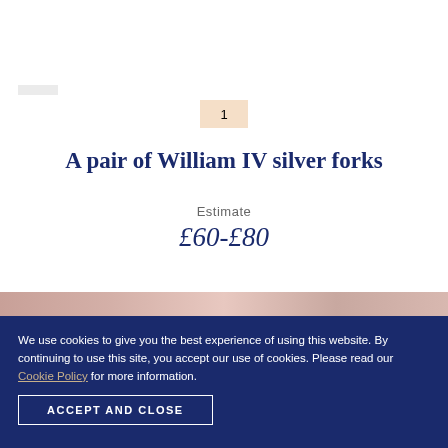[Figure (other): Small logo or header image placeholder in top-left of white section]
1
A pair of William IV silver forks
Estimate
£60-£80
[Figure (photo): Blurred/partial photo of auction items, cropped at bottom of visible white area]
We use cookies to give you the best experience of using this website. By continuing to use this site, you accept our use of cookies. Please read our Cookie Policy for more information.
ACCEPT AND CLOSE